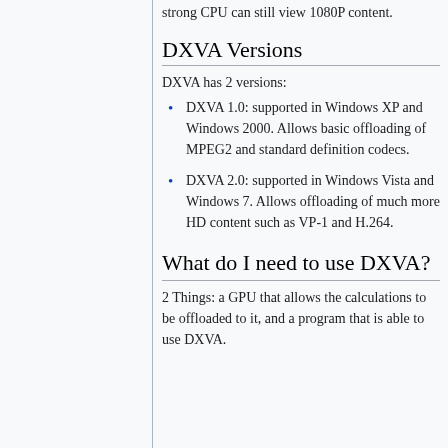strong CPU can still view 1080P content.
DXVA Versions
DXVA has 2 versions:
DXVA 1.0: supported in Windows XP and Windows 2000. Allows basic offloading of MPEG2 and standard definition codecs.
DXVA 2.0: supported in Windows Vista and Windows 7. Allows offloading of much more HD content such as VP-1 and H.264.
What do I need to use DXVA?
2 Things: a GPU that allows the calculations to be offloaded to it, and a program that is able to use DXVA.